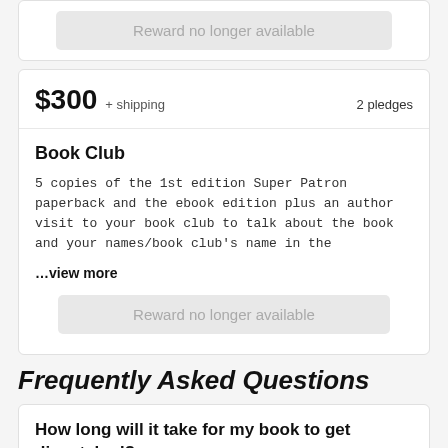Reward no longer available
$300 + shipping   2 pledges
Book Club
5 copies of the 1st edition Super Patron paperback and the ebook edition plus an author visit to your book club to talk about the book and your names/book club's name in the
…view more
Reward no longer available
Frequently Asked Questions
How long will it take for my book to get dispatched?
For books in stock we usually dispatch orders within a few working days. You will receive a dispatch email when your order is on the way.